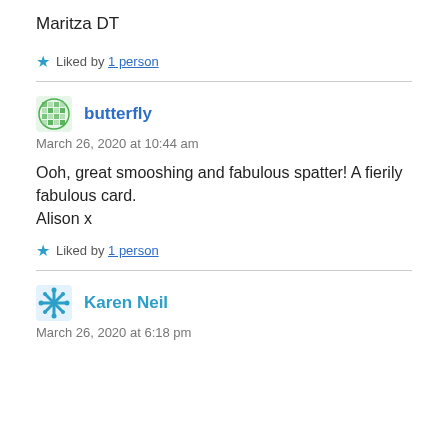Maritza DT
★ Liked by 1 person
butterfly
March 26, 2020 at 10:44 am
Ooh, great smooshing and fabulous spatter! A fierily fabulous card.
Alison x
★ Liked by 1 person
Karen Neil
March 26, 2020 at 6:18 pm